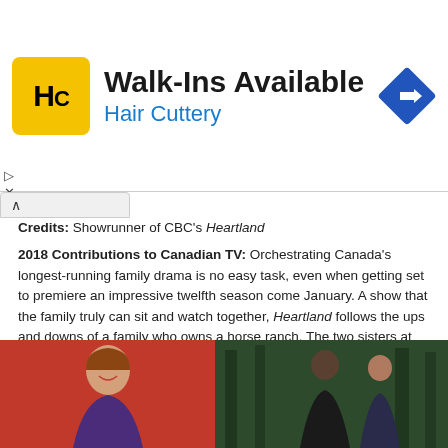[Figure (other): Hair Cuttery advertisement banner with yellow logo, 'Walk-Ins Available' headline, 'Hair Cuttery' subtitle in blue, and a blue navigation/direction diamond icon on the right]
Credits: Showrunner of CBC's Heartland
2018 Contributions to Canadian TV: Orchestrating Canada's longest-running family drama is no easy task, even when getting set to premiere an impressive twelfth season come January. A show that the family truly can sit and watch together, Heartland follows the ups and downs of a family who owns a horse ranch. The two sisters at the core of the show, Amy and Lou, along with friends and family, face personal struggles while relying on each other for guidance and support.
SARAH DODD
[Figure (photo): Two photos side by side: left photo shows a woman smiling against a red background; right photo shows two people (a man and woman) in a dark outdoor/forest setting]